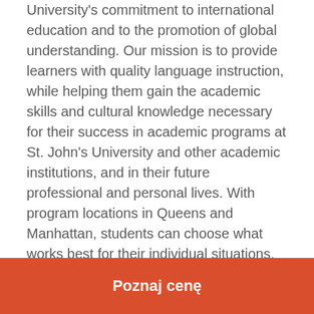The Language Connection (TLC) exemplifies St. John's University's commitment to international education and to the promotion of global understanding. Our mission is to provide learners with quality language instruction, while helping them gain the academic skills and cultural knowledge necessary for their success in academic programs at St. John's University and other academic institutions, and in their future professional and personal lives. With program locations in Queens and Manhattan, students can choose what works best for their individual situations. TLC makes every effort to provide our students with an optimal learning environment, including the most effective pedagogical methods and instructional materials, the latest technology, and modern classroom and living facilities. TLC fully supports and promotes the ongoing professional development of our faculty and staff in order to stay at the
Poznaj cenę